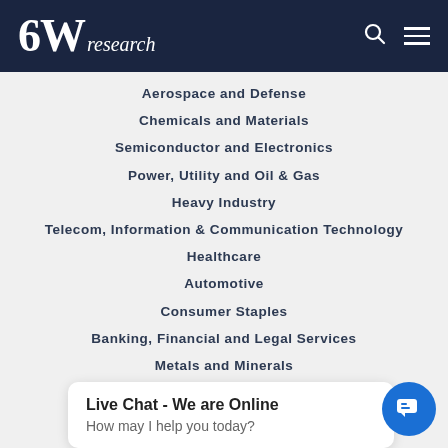6W research
Aerospace and Defense
Chemicals and Materials
Semiconductor and Electronics
Power, Utility and Oil & Gas
Heavy Industry
Telecom, Information & Communication Technology
Healthcare
Automotive
Consumer Staples
Banking, Financial and Legal Services
Metals and Minerals
Media and Entertainment
Miscellaneous
Live Chat - We are Online
How may I help you today?